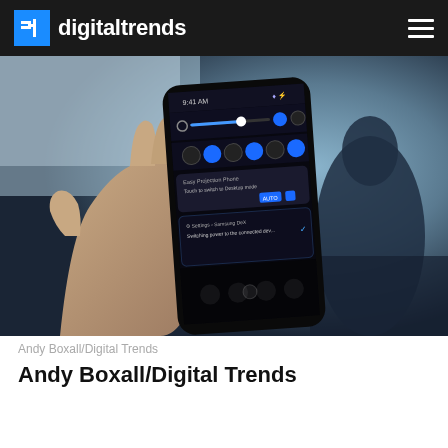digitaltrends
[Figure (photo): A hand holding a Samsung smartphone showing the quick settings/DeX panel on the screen, with a blurred background showing a person and office environment.]
Andy Boxall/Digital Trends
Andy Boxall/Digital Trends